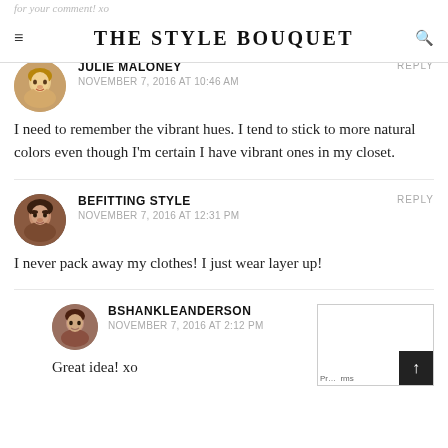THE STYLE BOUQUET
for your comment! xo
JULIE MALONEY
NOVEMBER 7, 2016 AT 10:46 AM
I need to remember the vibrant hues. I tend to stick to more natural colors even though I'm certain I have vibrant ones in my closet.
BEFITTING STYLE
NOVEMBER 7, 2016 AT 12:31 PM
I never pack away my clothes! I just wear layer up!
BSHANKLEANDERSON
NOVEMBER 7, 2016 AT 2:12 PM
Great idea! xo